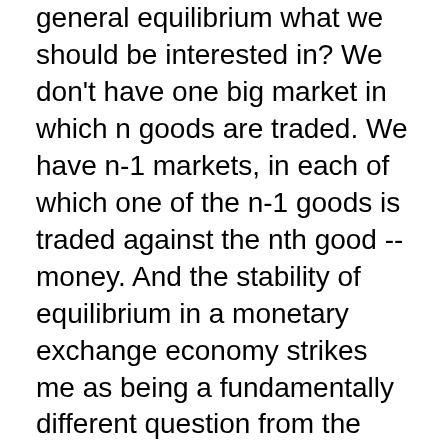general equilibrium what we should be interested in? We don't have one big market in which n goods are traded. We have n-1 markets, in each of which one of the n-1 goods is traded against the nth good -- money. And the stability of equilibrium in a monetary exchange economy strikes me as being a fundamentally different question from the stability of equilibrium in a Walrasian economy. Moreover, stability of equilibrium in which trading at disequilibrium prices leads to rationing, so we are talking about stability when prices